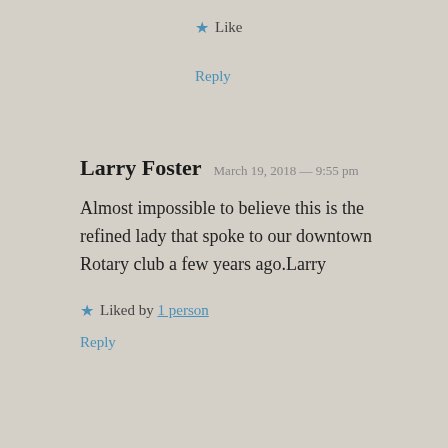★ Like
Reply
Larry Foster  March 19, 2018 — 9:55 pm
Almost impossible to believe this is the refined lady that spoke to our downtown Rotary club a few years ago.Larry
★ Liked by 1 person
Reply